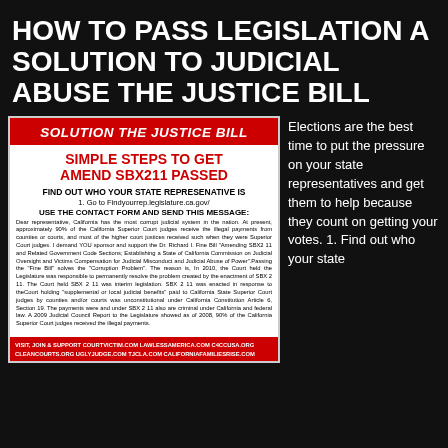HOW TO PASS LEGISLATION A SOLUTION TO JUDICIAL ABUSE THE JUSTICE BILL
[Figure (infographic): Red and white flyer titled SOLUTION THE JUSTICE BILL with steps to get Amend SBX211 passed, contact information for state representatives, and website URLs.]
Elections are the best time to put the pressure on your state representatives and get them to help because they count on getting your votes. 1. Find out who your state